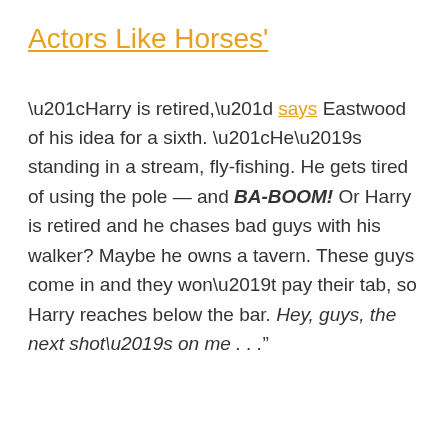Actors Like Horses'
“Harry is retired,” says Eastwood of his idea for a sixth. “He’s standing in a stream, fly-fishing. He gets tired of using the pole — and BA-BOOM! Or Harry is retired and he chases bad guys with his walker? Maybe he owns a tavern. These guys come in and they won’t pay their tab, so Harry reaches below the bar. Hey, guys, the next shot’s on me . . .”